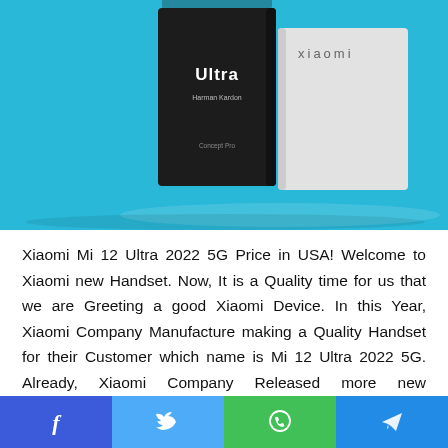[Figure (photo): Product photo of Xiaomi Mi 12 Ultra box packaging — a black box labeled 'Ultra Harman Kardon' on the left and a white/light gray Xiaomi box on the right, against a cyan/turquoise background with reflections.]
Xiaomi Mi 12 Ultra 2022 5G Price in USA! Welcome to Xiaomi new Handset. Now, It is a Quality time for us that we are Greeting a good Xiaomi Device. In this Year, Xiaomi Company Manufacture making a Quality Handset for their Customer which name is Mi 12 Ultra 2022 5G. Already, Xiaomi Company Released more new smartphone which is Mi 11 Ultra 2022 and more. Every One Likes the Xiaomi Brands.
At this time, many smartphone Brands available. All of the
[Figure (infographic): Social media share bar with four buttons: Facebook (blue, f icon), Twitter (light blue, bird icon), WhatsApp (green, phone icon), Telegram (dark blue, paper plane icon).]